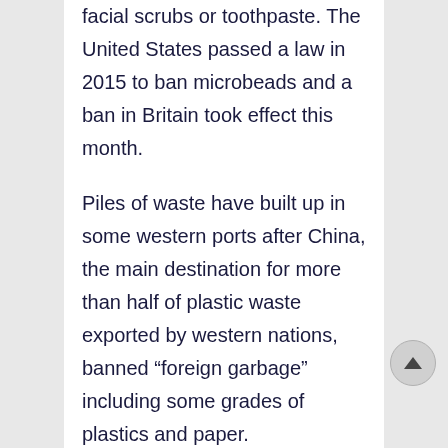facial scrubs or toothpaste. The United States passed a law in 2015 to ban microbeads and a ban in Britain took effect this month.
Piles of waste have built up in some western ports after China, the main destination for more than half of plastic waste exported by western nations, banned “foreign garbage” including some grades of plastics and paper.
Solheim said companies including Coca-Cola, Nestle and Danone were